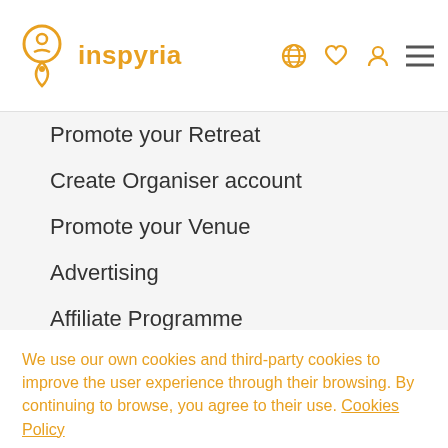inspyria
Promote your Retreat
Create Organiser account
Promote your Venue
Advertising
Affiliate Programme
Professional Help Desk
We use our own cookies and third-party cookies to improve the user experience through their browsing. By continuing to browse, you agree to their use. Cookies Policy
I ACCEPT THE COOKIES POLICY